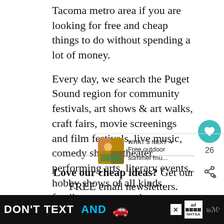Tacoma metro area if you are looking for free and cheap things to do without spending a lot of money.
Every day, we search the Puget Sound region for community festivals, art shows & art walks, craft fairs, movie screenings and film festivals, live music, comedy shows, theater, performing arts, literary events, hobby shows of all kinds, family events, sporting events, recreation on the water, shopping discounts, consignment and used goods sales, exercise events, and more. Anything and everything as long as its free or cheap and fun.
[Figure (infographic): Heart icon button (teal circle with white heart), like count 26, and share icon]
[Figure (infographic): WHAT'S NEXT arrow label with thumbnail image and text 'Free outdoor summer mu...']
Love our cheap ideas? Get our FREE email newsletters.
[Figure (infographic): Ad banner: DON'T TEXT AND [car emoji] with ad badge and NHTSA logo on black background]